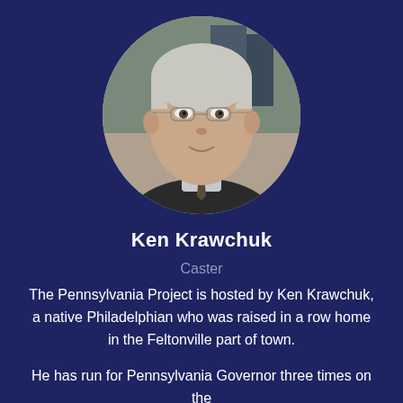[Figure (photo): Circular headshot of Ken Krawchuk, an older man with grey hair and glasses, wearing a dark suit jacket, light blue shirt, and tie, photographed indoors with a blurred background.]
Ken Krawchuk
Caster
The Pennsylvania Project is hosted by Ken Krawchuk, a native Philadelphian who was raised in a row home in the Feltonville part of town.
He has run for Pennsylvania Governor three times on the